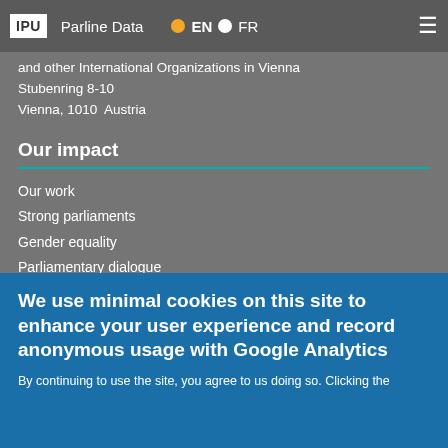IPU | Parline Data | EN | FR
and other International Organizations in Vienna
Stubenring 8-10
Vienna, 1010  Austria
Our impact
Our work
Strong parliaments
Gender equality
Parliamentary dialogue
Human rights
Sustainable development
Peacebuilding
Global governance
We use minimal cookies on this site to enhance your user experience and record anonymous usage with Google Analytics
By continuing to use the site, you agree to us doing so. Clicking the